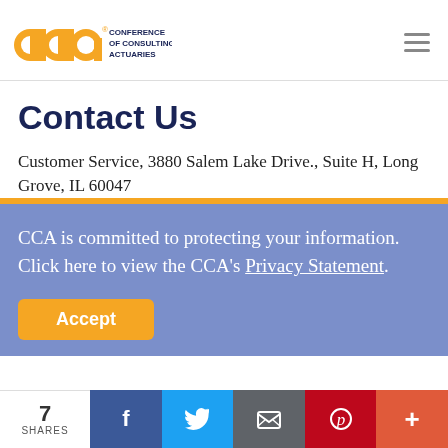[Figure (logo): CCA Conference of Consulting Actuaries logo with orange circular text marks and dark blue text]
Contact Us
Customer Service, 3880 Salem Lake Drive., Suite H, Long Grove, IL 60047
CCA is committed to protecting your information. Click here to view the CCA's Privacy Statement.
Accept
7 SHARES — Facebook, Twitter, Email, Pinterest, More